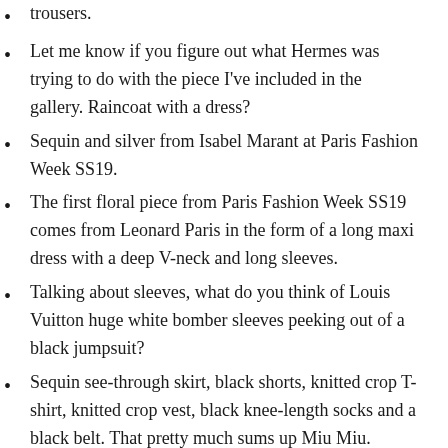trousers.
Let me know if you figure out what Hermes was trying to do with the piece I've included in the gallery. Raincoat with a dress?
Sequin and silver from Isabel Marant at Paris Fashion Week SS19.
The first floral piece from Paris Fashion Week SS19 comes from Leonard Paris in the form of a long maxi dress with a deep V-neck and long sleeves.
Talking about sleeves, what do you think of Louis Vuitton huge white bomber sleeves peeking out of a black jumpsuit?
Sequin see-through skirt, black shorts, knitted crop T-shirt, knitted crop vest, black knee-length socks and a black belt. That pretty much sums up Miu Miu.
Off-White definitely made an entrance with Bella Hadid and Kendall Jenner walking synchronically on a